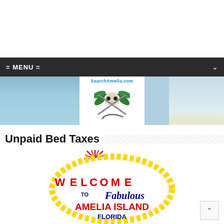= MENU =
[Figure (photo): Website header banner for SearchAmelia.com showing ocean/beach scene with a pirate skull and swords logo centered, beach water on left and sandy beach on right]
Unpaid Bed Taxes
[Figure (illustration): Welcome to Fabulous Amelia Island Florida sign styled after the Las Vegas welcome sign, with red star burst above, gold dot border, red and blue lettering on white background with cursive 'Fabulous' in blue]